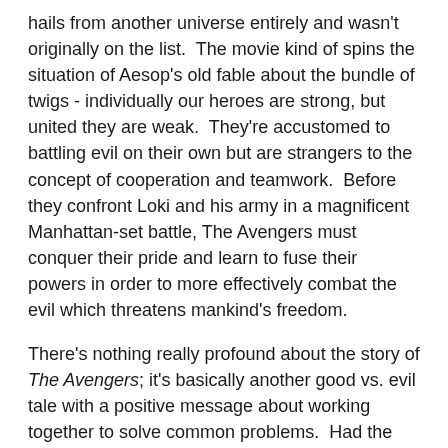hails from another universe entirely and wasn't originally on the list.  The movie kind of spins the situation of Aesop's old fable about the bundle of twigs - individually our heroes are strong, but united they are weak.  They're accustomed to battling evil on their own but are strangers to the concept of cooperation and teamwork.  Before they confront Loki and his army in a magnificent Manhattan-set battle, The Avengers must conquer their pride and learn to fuse their powers in order to more effectively combat the evil which threatens mankind's freedom.
There's nothing really profound about the story of The Avengers; it's basically another good vs. evil tale with a positive message about working together to solve common problems.  Had the director, Joss Whedon of Buffy and Firefly fame, taken the movie a little further, it could have been genuinely communist, but you'll have to wait for the Blu-Ray release to see the uber-liberal director's cut.  Nonetheless, the movie is spectacular in its characterization, due to the excellent script and acting.  All the heroes are well defined and admirable despite their flaws.  Captain America is far more interesting in this movie